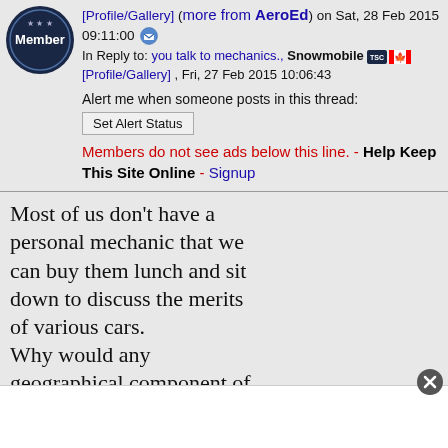[Figure (logo): Round member badge with 'Member' text in dark navy/blue circular seal]
[Profile/Gallery] (more from AeroEd) on Sat, 28 Feb 2015 09:11:00 [email icon]
In Reply to: you talk to mechanics., Snowmobile [flags] [Profile/Gallery] , Fri, 27 Feb 2015 10:06:43
Alert me when someone posts in this thread:
[Set Alert Status button]
Members do not see ads below this line. - Help Keep This Site Online - Signup
Most of us don't have a personal mechanic that we can buy them lunch and sit down to discuss the merits of various cars.
Why would any geographical component of CR's data matter? What do you even mean by that?
Yes, we don't know the maintenance history of